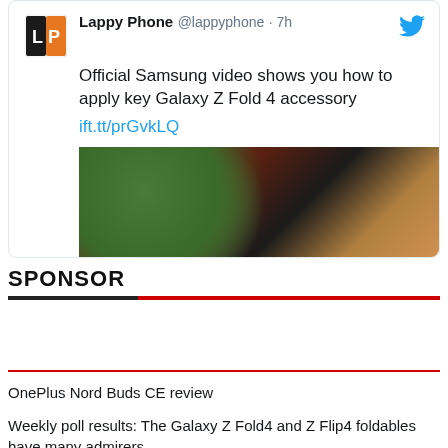[Figure (screenshot): Tweet card from Lappy Phone (@lappyphone) posted 7h ago with Twitter bird icon. Text: 'Official Samsung video shows you how to apply key Galaxy Z Fold 4 accessory' with link ift.tt/prGvkLQ and a preview image of hands applying accessory to a phone with plants in background.]
SPONSOR
OnePlus Nord Buds CE review
Weekly poll results: The Galaxy Z Fold4 and Z Flip4 foldables have many admirers
The new phones of week 33
$10,000 gets you a pimped up Samsung Galaxy Z Fold4 - courtesy of Caviar